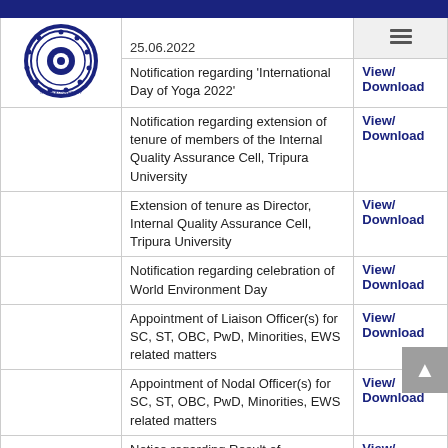|  | Description | Link |
| --- | --- | --- |
| 25.06.2022 | Notification regarding 'International Day of Yoga 2022' | View/ Download |
|  | Notification regarding extension of tenure of members of the Internal Quality Assurance Cell, Tripura University | View/ Download |
|  | Extension of tenure as Director, Internal Quality Assurance Cell, Tripura University | View/ Download |
|  | Notification regarding celebration of World Environment Day | View/ Download |
|  | Appointment of Liaison Officer(s) for SC, ST, OBC, PwD, Minorities, EWS related matters | View/ Download |
|  | Appointment of Nodal Officer(s) for SC, ST, OBC, PwD, Minorities, EWS related matters | View/ Download |
|  | Notice regarding Result of TDP/TDPH BA (Pass & Hons) 3rd Semester-2021 and B.Sc. (Pass | View/ Download |